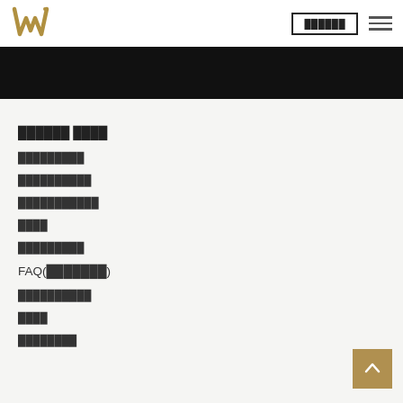[navigation header with logo and menu button]
[Figure (other): Black banner bar below navigation header]
██████ ████
█████████
██████████
███████████
████
█████████
FAQ(███████)
██████████
████
████████